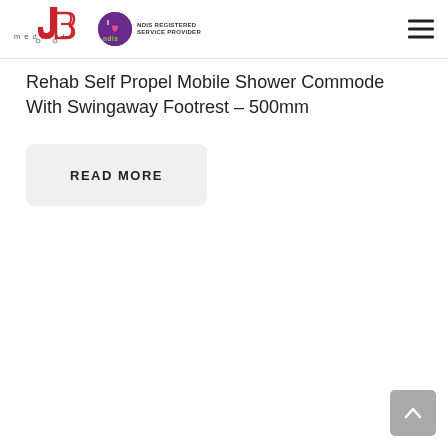JB Medical | NDIS Registered Service Provider
Rehab Self Propel Mobile Shower Commode With Swingaway Footrest – 500mm
READ MORE